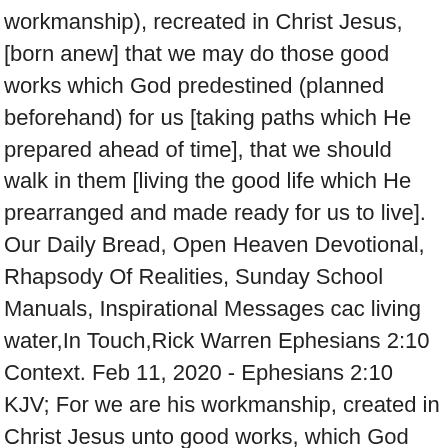workmanship), recreated in Christ Jesus, [born anew] that we may do those good works which God predestined (planned beforehand) for us [taking paths which He prepared ahead of time], that we should walk in them [living the good life which He prearranged and made ready for us to live]. Our Daily Bread, Open Heaven Devotional, Rhapsody Of Realities, Sunday School Manuals, Inspirational Messages cac living water,In Touch,Rick Warren Ephesians 2:10 Context. Feb 11, 2020 - Ephesians 2:10 KJV; For we are his workmanship, created in Christ Jesus unto good works, which God hath before ordained that we should walk in them. 2-- From Sin by Faith and God's Grace - Free download as Word Doc (.doc), PDF File (.pdf), Text File (.txt) or read online for free. Ephesians 2:10 (Amplified® Bible) A.F.V A.S.V. The riches of God's grace